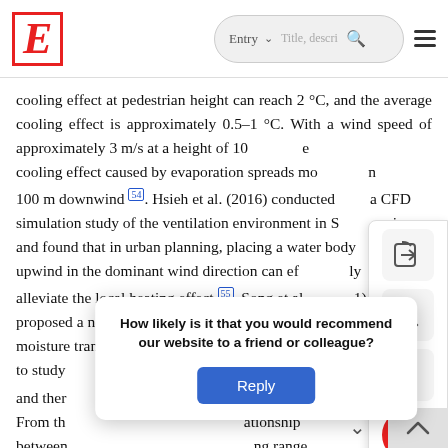E [logo] Entry ∨ Title, descri... 🔍 ☰
cooling effect at pedestrian height can reach 2 °C, and the average cooling effect is approximately 0.5–1 °C. With a wind speed of approximately 3 m/s at a height of 10 [obscured] the cooling effect caused by evaporation spreads mo[re than] 100 m downwind [54]. Hsieh et al. (2016) conducted a CFD simulation study of the ventilation environment in S[hanghai] and found that in urban planning, placing a water body upwind in the dominant wind direction can ef[fectivel]y alleviate the local heating effect [55]. Song et al. (2[02]1) proposed a new calculation method for heat trans[fer an]d moisture transfer between water bodies and [the] atm[ospher]e to study [the relationship between] humidity and ther[mal comfort] [5?]. From th[e literature], [the rel]ationship between [water bodies and the surroundi]ng range
[Figure (screenshot): Floating action panel with share, download, quote, and help buttons on right side of screen]
[Figure (infographic): Survey popup dialog asking 'How likely is it that you would recommend our website to a friend or colleague?' with a Reply button]